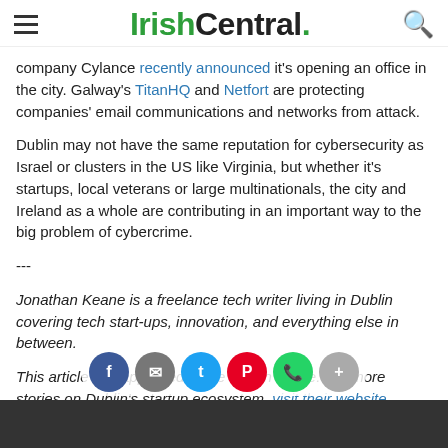IrishCentral.
company Cylance recently announced it's opening an office in the city. Galway's TitanHQ and Netfort are protecting companies' email communications and networks from attack.
Dublin may not have the same reputation for cybersecurity as Israel or clusters in the US like Virginia, but whether it's startups, local veterans or large multinationals, the city and Ireland as a whole are contributing in an important way to the big problem of cybercrime.
---
Jonathan Keane is a freelance tech writer living in Dublin covering tech start-ups, innovation, and everything else in between.
This article first appeared in the Dublin Globe. For more stories on Dublin's startup ecosystem, visit their website.